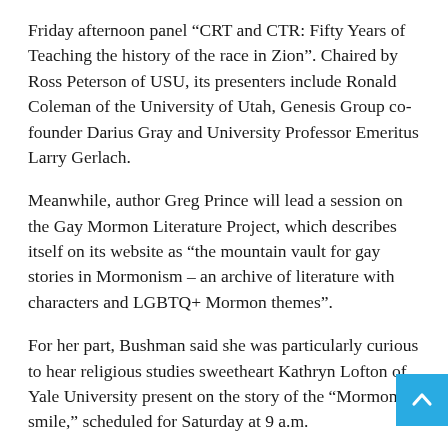Friday afternoon panel “CRT and CTR: Fifty Years of Teaching the history of the race in Zion”. Chaired by Ross Peterson of USU, its presenters include Ronald Coleman of the University of Utah, Genesis Group co-founder Darius Gray and University Professor Emeritus Larry Gerlach.
Meanwhile, author Greg Prince will lead a session on the Gay Mormon Literature Project, which describes itself on its website as “the mountain vault for gay stories in Mormonism – an archive of literature with characters and LGBTQ+ Mormon themes”.
For her part, Bushman said she was particularly curious to hear religious studies sweetheart Kathryn Lofton of Yale University present on the story of the “Mormon smile,” scheduled for Saturday at 9 a.m.
Writer Kristine Haglund, who along with historian Richard Bushman chaired the program committee, said the conference embodies broad trends in the study of Mormonism, including